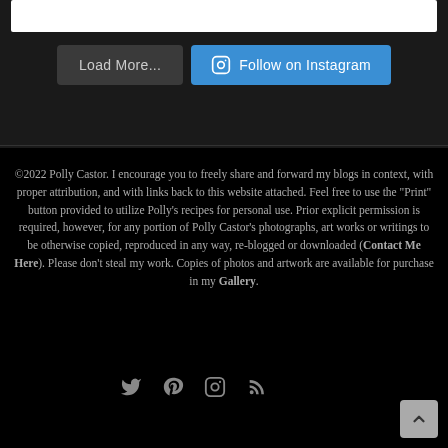[Figure (screenshot): White bar at top of dark section, partially visible]
Load More...
Follow on Instagram
©2022 Polly Castor. I encourage you to freely share and forward my blogs in context, with proper attribution, and with links back to this website attached. Feel free to use the "Print" button provided to utilize Polly's recipes for personal use. Prior explicit permission is required, however, for any portion of Polly Castor's photographs, art works or writings to be otherwise copied, reproduced in any way, re-blogged or downloaded (Contact Me Here). Please don't steal my work. Copies of photos and artwork are available for purchase in my Gallery.